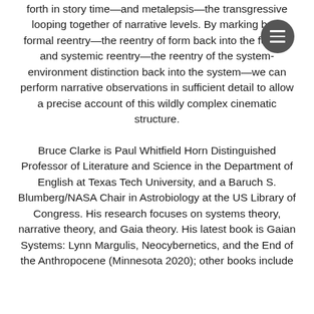forth in story time—and metalepsis—the transgressive looping together of narrative levels. By marking both formal reentry—the reentry of form back into the form—and systemic reentry—the reentry of the system-environment distinction back into the system—we can perform narrative observations in sufficient detail to allow a precise account of this wildly complex cinematic structure.
Bruce Clarke is Paul Whitfield Horn Distinguished Professor of Literature and Science in the Department of English at Texas Tech University, and a Baruch S. Blumberg/NASA Chair in Astrobiology at the US Library of Congress. His research focuses on systems theory, narrative theory, and Gaia theory. His latest book is Gaian Systems: Lynn Margulis, Neocybernetics, and the End of the Anthropocene (Minnesota 2020); other books include